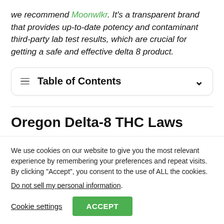we recommend Moonwlkr. It's a transparent brand that provides up-to-date potency and contaminant third-party lab test results, which are crucial for getting a safe and effective delta 8 product.
Table of Contents
Oregon Delta-8 THC Laws
We use cookies on our website to give you the most relevant experience by remembering your preferences and repeat visits. By clicking “Accept”, you consent to the use of ALL the cookies.
Do not sell my personal information.
Cookie settings
ACCEPT